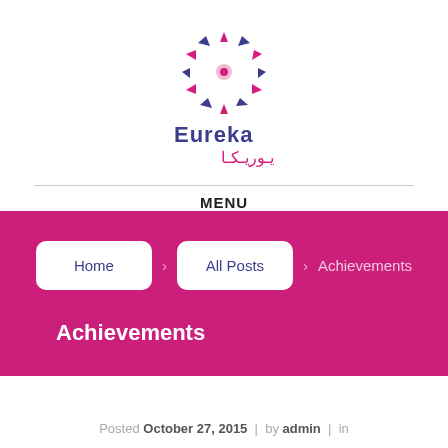[Figure (logo): Eureka logo with colorful triangular star pattern and Arabic text يوريكا]
MENU
Home › All Posts › Achievements
Achievements
Posted October 27, 2015  |  by admin  |  in